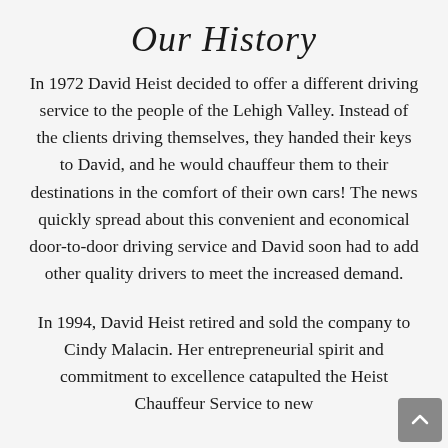Our History
In 1972 David Heist decided to offer a different driving service to the people of the Lehigh Valley. Instead of the clients driving themselves, they handed their keys to David, and he would chauffeur them to their destinations in the comfort of their own cars! The news quickly spread about this convenient and economical door-to-door driving service and David soon had to add other quality drivers to meet the increased demand.
In 1994, David Heist retired and sold the company to Cindy Malacin. Her entrepreneurial spirit and commitment to excellence catapulted the Heist Chauffeur Service to new